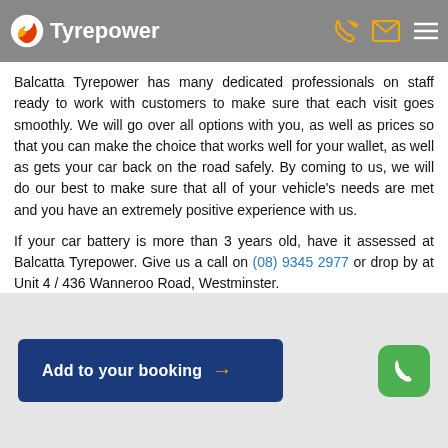Tyrepower
Balcatta Tyrepower has many dedicated professionals on staff ready to work with customers to make sure that each visit goes smoothly. We will go over all options with you, as well as prices so that you can make the choice that works well for your wallet, as well as gets your car back on the road safely. By coming to us, we will do our best to make sure that all of your vehicle's needs are met and you have an extremely positive experience with us.
If your car battery is more than 3 years old, have it assessed at Balcatta Tyrepower. Give us a call on (08) 9345 2977 or drop by at Unit 4 / 436 Wanneroo Road, Westminster.
Add to your booking →